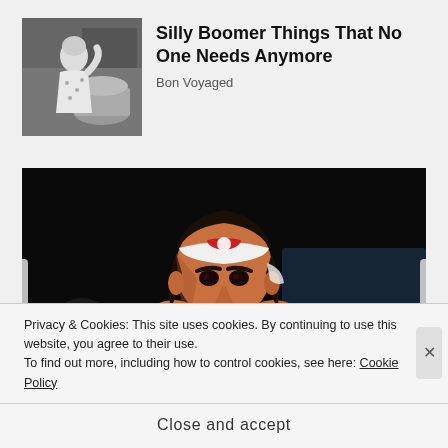[Figure (photo): Black and white vintage photo of a woman in a floral dress looking stressed near laundry]
Silly Boomer Things That No One Needs Anymore
Bon Voyaged
[Figure (photo): Color photo of a shirtless Asian man with a white headband looking intense, in a crowd scene]
Privacy & Cookies: This site uses cookies. By continuing to use this website, you agree to their use.
To find out more, including how to control cookies, see here: Cookie Policy
Close and accept